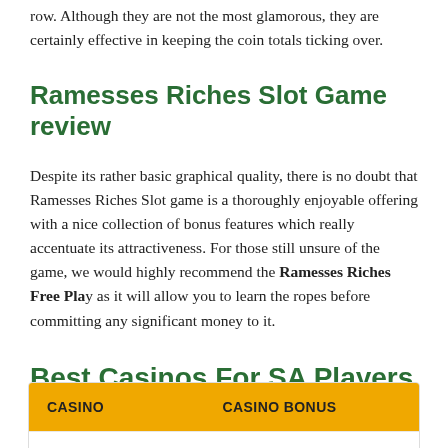row. Although they are not the most glamorous, they are certainly effective in keeping the coin totals ticking over.
Ramesses Riches Slot Game review
Despite its rather basic graphical quality, there is no doubt that Ramesses Riches Slot game is a thoroughly enjoyable offering with a nice collection of bonus features which really accentuate its attractiveness. For those still unsure of the game, we would highly recommend the Ramesses Riches Free Play as it will allow you to learn the ropes before committing any significant money to it.
Best Casinos For SA Players
| CASINO | CASINO BONUS |
| --- | --- |
|  | AFRICASINO |